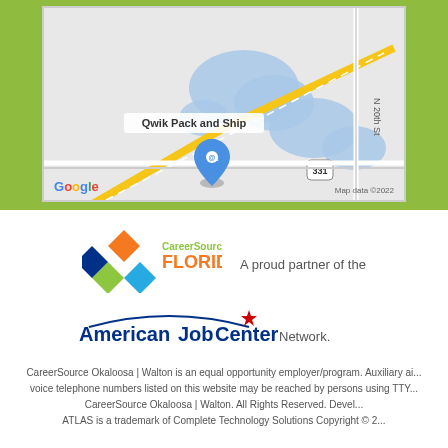[Figure (map): Google Maps screenshot showing area around Qwik Pack and Ship location, with Route 331, N 20th St visible, blue water bodies, and Google branding with Map data ©2022]
[Figure (logo): CareerSource Florida logo (orange and green/blue diamond shapes) with text 'CareerSource. FLORIDA']
A proud partner of the
[Figure (logo): American Job Center logo with blue text 'AmericanJobCenter' and red star, followed by 'Network.']
CareerSource Okaloosa | Walton is an equal opportunity employer/program. Auxiliary ai... voice telephone numbers listed on this website may be reached by persons using TTY... CareerSource Okaloosa | Walton. All Rights Reserved. Devel... ATLAS is a trademark of Complete Technology Solutions Copyright © 2...